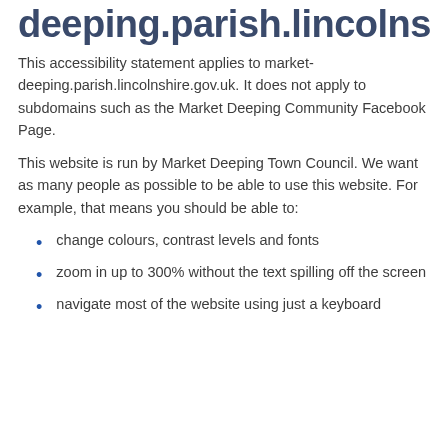deeping.parish.lincolnshi...
This accessibility statement applies to market-deeping.parish.lincolnshire.gov.uk. It does not apply to subdomains such as the Market Deeping Community Facebook Page.
This website is run by Market Deeping Town Council. We want as many people as possible to be able to use this website. For example, that means you should be able to:
change colours, contrast levels and fonts
zoom in up to 300% without the text spilling off the screen
navigate most of the website using just a keyboard